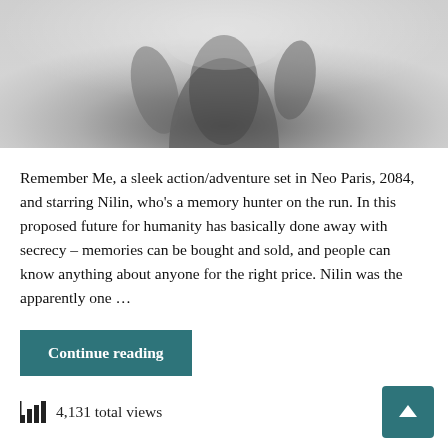[Figure (photo): Black and white action game image showing the back of a character in jeans with robotic arm elements, from the game Remember Me set in Neo Paris 2084.]
Remember Me, a sleek action/adventure set in Neo Paris, 2084, and starring Nilin, who's a memory hunter on the run. In this proposed future for humanity has basically done away with secrecy – memories can be bought and sold, and people can know anything about anyone for the right price. Nilin was the apparently one …
Continue reading
4,131 total views